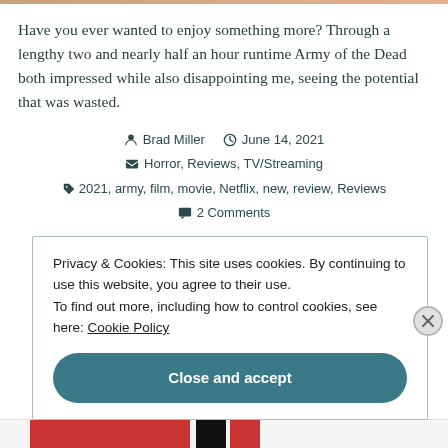Have you ever wanted to enjoy something more? Through a lengthy two and nearly half an hour runtime Army of the Dead both impressed while also disappointing me, seeing the potential that was wasted.
Brad Miller  June 14, 2021  Horror, Reviews, TV/Streaming  2021, army, film, movie, Netflix, new, review, Reviews  2 Comments
Privacy & Cookies: This site uses cookies. By continuing to use this website, you agree to their use. To find out more, including how to control cookies, see here: Cookie Policy
Close and accept